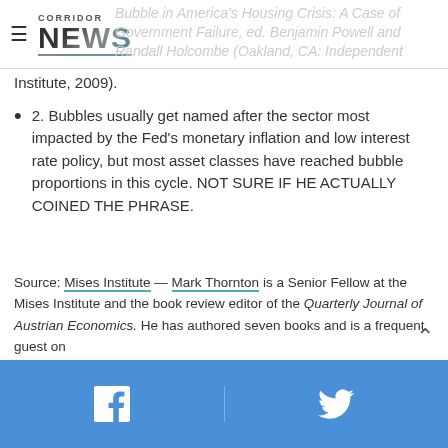CORRIDOR NEWS
Bubble in America's Housing Crisis: A Case of Government Failure, ed. Benjamin Powell and Randall Holcombe (Oakland, CA: Independent Institute, 2009).
2. Bubbles usually get named after the sector most impacted by the Fed's monetary inflation and low interest rate policy, but most asset classes have reached bubble proportions in this cycle. NOT SURE IF HE ACTUALLY COINED THE PHRASE.
Source: Mises Institute — Mark Thornton is a Senior Fellow at the Mises Institute and the book review editor of the Quarterly Journal of Austrian Economics. He has authored seven books and is a frequent guest on
Facebook share | Twitter share